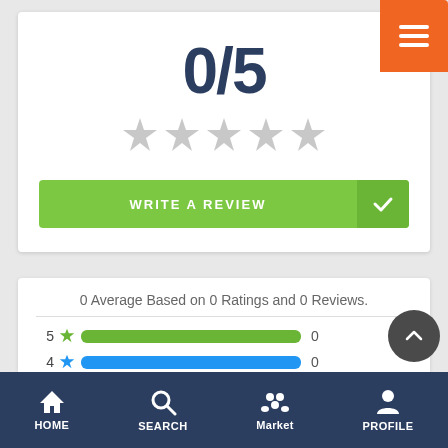0/5
[Figure (other): Five empty grey star rating icons]
[Figure (other): Green WRITE A REVIEW button with checkmark]
0 Average Based on 0 Ratings and 0 Reviews.
[Figure (bar-chart): Star rating distribution]
[Figure (other): Orange hamburger menu button top right]
[Figure (other): Dark grey scroll-to-top button with up arrow]
HOME   SEARCH   Market   PROFILE